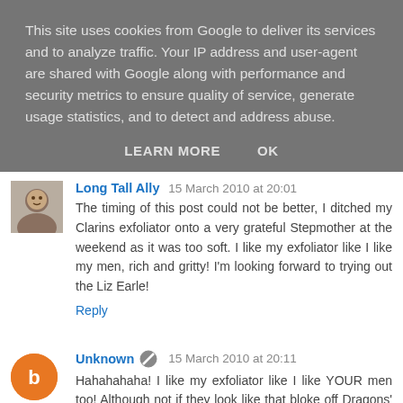This site uses cookies from Google to deliver its services and to analyze traffic. Your IP address and user-agent are shared with Google along with performance and security metrics to ensure quality of service, generate usage statistics, and to detect and address abuse.
LEARN MORE   OK
Long Tall Ally  15 March 2010 at 20:01
The timing of this post could not be better, I ditched my Clarins exfoliator onto a very grateful Stepmother at the weekend as it was too soft. I like my exfoliator like I like my men, rich and gritty! I'm looking forward to trying out the Liz Earle!
Reply
Unknown  15 March 2010 at 20:11
Hahahahaha! I like my exfoliator like I like YOUR men too! Although not if they look like that bloke off Dragons' Den :0/
Reply